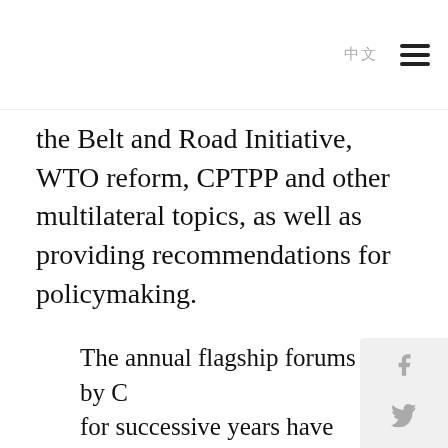中文  ☰
the Belt and Road Initiative, WTO reform, CPTPP and other multilateral topics, as well as providing recommendations for policymaking.
The annual flagship forums held by CCG for successive years have contributed to discussion on China-U.S. relations and China-EU cooperation, promoted international exchange, and given full play to the role of think tanks in track II diplomacy. CCG regularly conducts research and exchanges in multiple countries, and published a series of Chinese and English research reports on China-U.S.